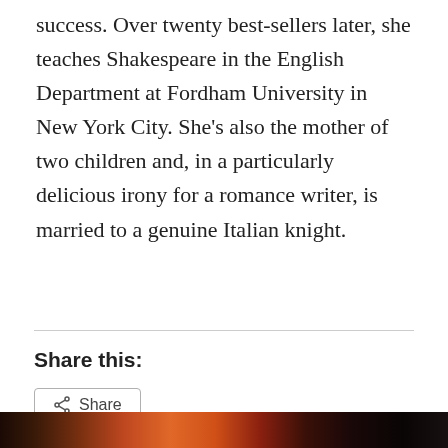success. Over twenty best-sellers later, she teaches Shakespeare in the English Department at Fordham University in New York City. She’s also the mother of two children and, in a particularly delicious irony for a romance writer, is married to a genuine Italian knight.
Share this:
Share
Loading...
Privacy & Cookies: This site uses cookies. By continuing to use this website, you agree to their use.
To find out more, including how to control cookies, see here: Cookie Policy
Close and accept
[Figure (photo): Partial view of a colorful photo strip at the bottom of the page]